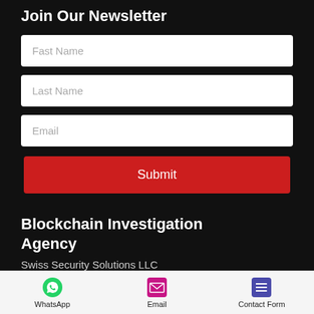Join Our Newsletter
[Figure (screenshot): Newsletter form with Fast Name, Last Name, Email input fields and a red Submit button]
Blockchain Investigation Agency
Swiss Security Solutions LLC
Schaffhauserstrasse 550.
WhatsApp | Email | Contact Form